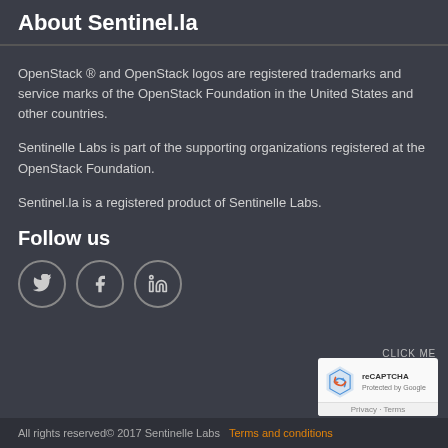About Sentinel.la
OpenStack ® and OpenStack logos are registered trademarks and service marks of the OpenStack Foundation in the United States and other countries.
Sentinelle Labs is part of the supporting organizations registered at the OpenStack Foundation.
Sentinel.la is a registered product of Sentinelle Labs.
Follow us
[Figure (illustration): Three circular social media icons: Twitter (bird icon), Facebook (f icon), LinkedIn (in icon), each with a circular border outline.]
[Figure (illustration): reCAPTCHA widget box with logo and Privacy - Terms text]
All rights reserved© 2017 Sentinelle Labs   Terms and conditions